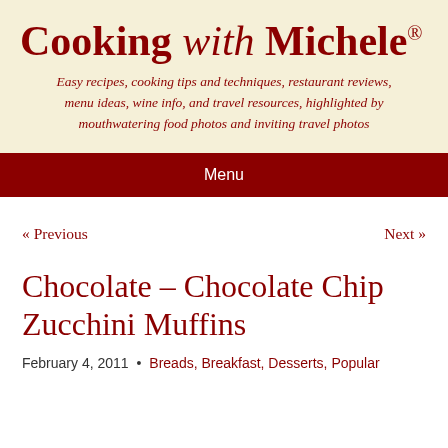Cooking with Michele®
Easy recipes, cooking tips and techniques, restaurant reviews, menu ideas, wine info, and travel resources, highlighted by mouthwatering food photos and inviting travel photos
Menu
« Previous    Next »
Chocolate – Chocolate Chip Zucchini Muffins
February 4, 2011 • Breads, Breakfast, Desserts, Popular